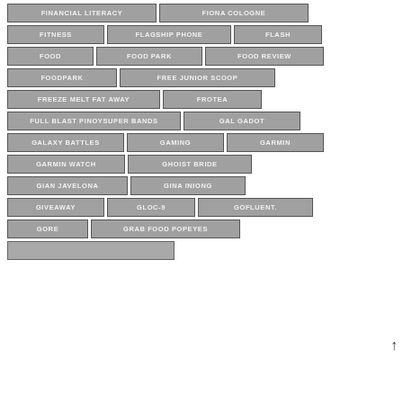FINANCIAL LITERACY
FIONA COLOGNE
FITNESS
FLAGSHIP PHONE
FLASH
FOOD
FOOD PARK
FOOD REVIEW
FOODPARK
FREE JUNIOR SCOOP
FREEZE MELT FAT AWAY
FROTEA
FULL BLAST PINOYSUPER BANDS
GAL GADOT
GALAXY BATTLES
GAMING
GARMIN
GARMIN WATCH
GHOIST BRIDE
GIAN JAVELONA
GINA INIONG
GIVEAWAY
GLOC-9
GOFLUENT.
GORE
GRAB FOOD POPEYES